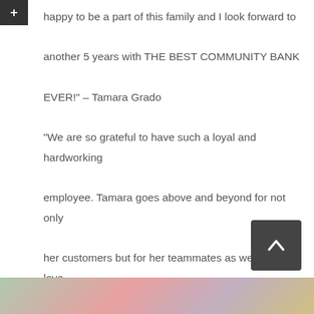happy to be a part of this family and I look forward to another 5 years with THE BEST COMMUNITY BANK EVER!" – Tamara Grado
“We are so grateful to have such a loyal and hardworking employee. Tamara goes above and beyond for not only her customers but for her teammates as well. We love having her as a part of our team and I hope I am here to see her hit her 10-year milestone as well.” – Jasmyne Espinoza
Thank you ladies for all your hard work in making Pioneer Bank the best Community Bank in New Mexico.
[Figure (photo): Photo strip at the bottom of the page showing partial colorful image]